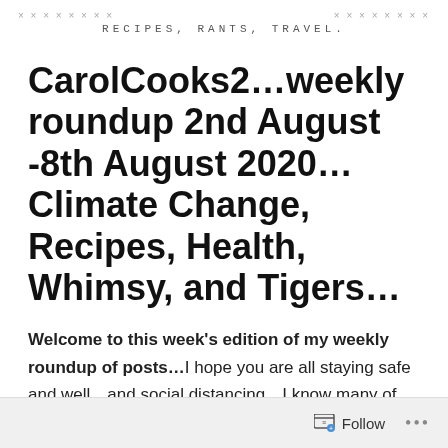× × × × × × × × × × × × × ×   Recipes, Rants, Travel.   × × × × × × × × × × × × × ×
CarolCooks2…weekly roundup 2nd August -8th August 2020… Climate Change, Recipes, Health, Whimsy, and Tigers…
Welcome to this week's edition of my weekly roundup of posts…I hope you are all staying safe and well…and social distancing…I know many of you are on further lockdowns once again as cases are in many places well on the rise again… a second phase…It really is not going away just yet unless those who haven't now decide that
Follow  ...